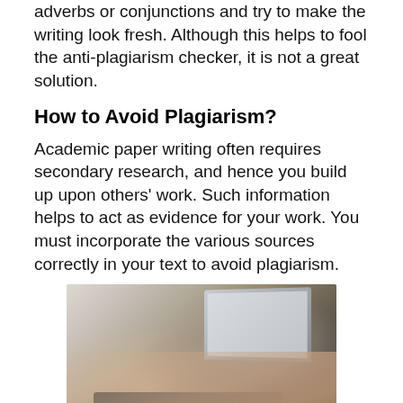adverbs or conjunctions and try to make the writing look fresh. Although this helps to fool the anti-plagiarism checker, it is not a great solution.
How to Avoid Plagiarism?
Academic paper writing often requires secondary research, and hence you build up upon others' work. Such information helps to act as evidence for your work. You must incorporate the various sources correctly in your text to avoid plagiarism.
[Figure (photo): Photo of hands typing on a laptop keyboard, placed on a wooden desk, with a notebook visible to the right.]